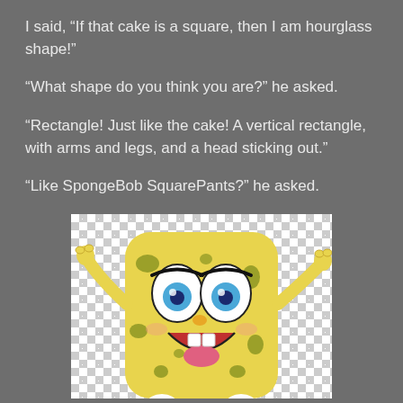I said, “If that cake is a square, then I am hourglass shape!”
“What shape do you think you are?” he asked.
“Rectangle! Just like the cake! A vertical rectangle, with arms and legs, and a head sticking out.”
“Like SpongeBob SquarePants?” he asked.
[Figure (illustration): Cartoon illustration of SpongeBob SquarePants character, a yellow rectangular sponge with big blue eyes, buck teeth, and arms raised, on a transparent/checkerboard background.]